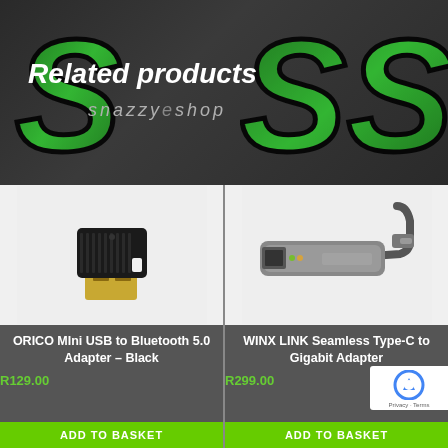Related products
[Figure (photo): ORICO Mini USB Bluetooth 5.0 Adapter - black dongle with gold USB connector]
ORICO MIni USB to Bluetooth 5.0 Adapter – Black
R129.00
ADD TO BASKET
[Figure (photo): WINX LINK Seamless Type-C to Gigabit Adapter - grey aluminum adapter with USB-C cable]
WINX LINK Seamless Type-C to Gigabit Adapter
R299.00
ADD TO BASKET